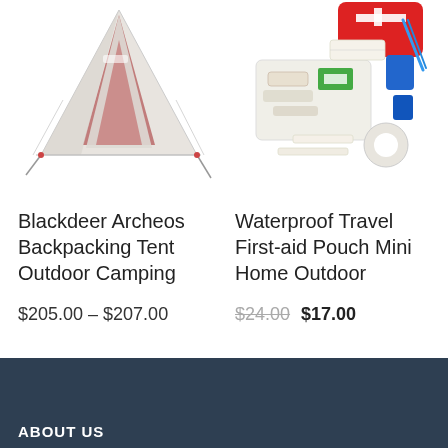[Figure (photo): White backpacking tent with red accents, A-frame style, photographed on white background]
[Figure (photo): Waterproof first aid pouch open showing bandages, antiseptic wipes, tape, tweezers and other medical supplies, with red first aid kit bag in background]
Blackdeer Archeos Backpacking Tent Outdoor Camping
$205.00 – $207.00
Waterproof Travel First-aid Pouch Mini Home Outdoor
$24.00 $17.00
ABOUT US